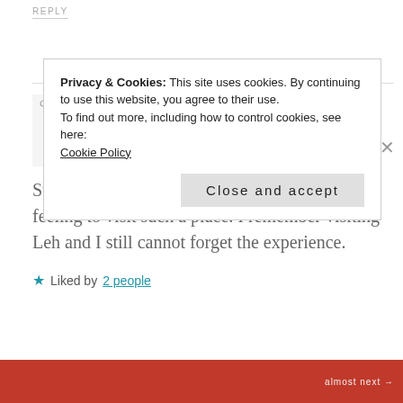REPLY
Hira
DECEMBER 16, 2016 AT 12:15 PM
Such marvelous picture! Isn't it a wonderful feeling to visit such a place. I remember visiting Leh and I still cannot forget the experience.
★ Liked by 2 people
Privacy & Cookies: This site uses cookies. By continuing to use this website, you agree to their use.
To find out more, including how to control cookies, see here:
Cookie Policy
Close and accept